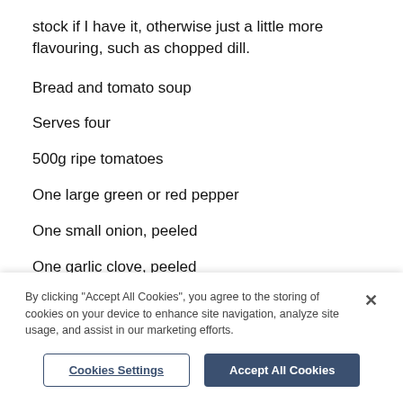stock if I have it, otherwise just a little more flavouring, such as chopped dill.
Bread and tomato soup
Serves four
500g ripe tomatoes
One large green or red pepper
One small onion, peeled
One garlic clove, peeled
150 ml extra virgin olive oil
By clicking "Accept All Cookies", you agree to the storing of cookies on your device to enhance site navigation, analyze site usage, and assist in our marketing efforts.